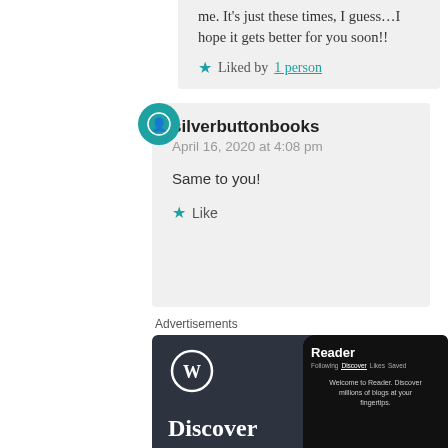me. It's just these times, I guess…I hope it gets better for you soon!!
Liked by 1 person
silverbuttonbooks
April 16, 2020 at 4:08 pm
Same to you!
Like
Advertisements
[Figure (screenshot): WordPress advertisement showing 'Discover new reads on the go.' with a WordPress logo, large serif text, and a phone mockup showing the Reader interface with tabs (Following, Discover, Likes, Saved), welcome text, and a 'You might like' section with tags: Family, Reading, Music, and an Around the World with Pam entry.]